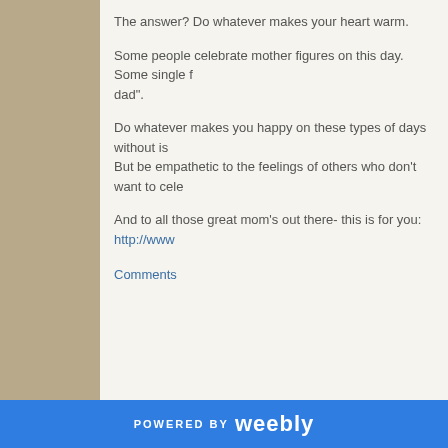The answer? Do whatever makes your heart warm.
Some people celebrate mother figures on this day. Some single f... dad".
Do whatever makes you happy on these types of days without is... But be empathetic to the feelings of others who don't want to cele...
And to all those great mom’s out there- this is for you: http://www...
Comments
POWERED BY weebly